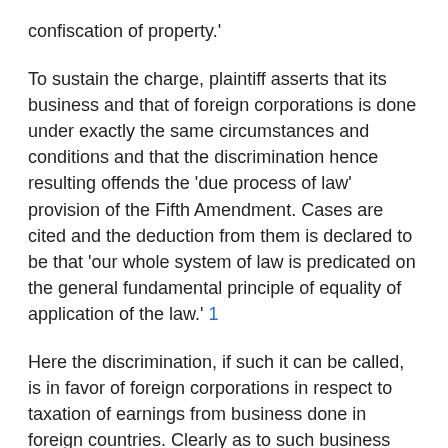confiscation of property.'
To sustain the charge, plaintiff asserts that its business and that of foreign corporations is done under exactly the same circumstances and conditions and that the discrimination hence resulting offends the 'due process of law' provision of the Fifth Amendment. Cases are cited and the deduction from them is declared to be that 'our whole system of law is predicated on the general fundamental principle of equality of application of the law.' 1
Here the discrimination, if such it can be called, is in favor of foreign corporations in respect to taxation of earnings from business done in foreign countries. Clearly as to such business Congress may adopt a policy calculated to serve the best interests of this country in dealing with citizens or subjects of another country, and may properly say that as to earnings from such business, the foreign subjects or citizens